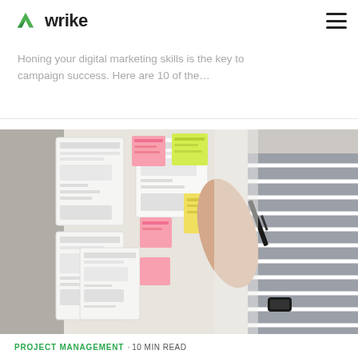wrike
Honing your digital marketing skills is the key to campaign success. Here are 10 of the…
[Figure (photo): Person in striped shirt writing on colorful sticky notes and wireframe pages pinned to a wall]
PROJECT MANAGEMENT · 10 MIN READ